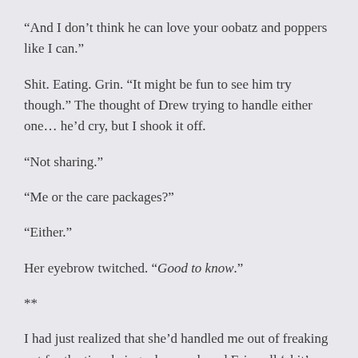“And I don’t think he can love your oobatz and poppers like I can.”
Shit. Eating. Grin. “It might be fun to see him try though.” The thought of Drew trying to handle either one… he’d cry, but I shook it off.
“Not sharing.”
“Me or the care packages?”
“Either.”
Her eyebrow twitched. “Good to know.”
**
I had just realized that she’d handled me out of freaking out for the time being when we heard Eric yell ‘shit’… That was going to cost him. Carm could’ve heard those dollar signs from a mile away.
Had winked and told me to cover her so that she could sneak a smoke when